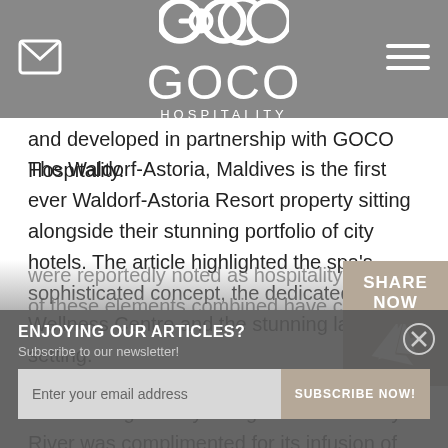GOCO HOSPITALITY
and developed in partnership with GOCO Hospitality. The Waldorf-Astoria, Maldives is the first ever Waldorf-Astoria Resort property sitting alongside their stunning portfolio of city hotels. The article highlighted the spa's sophisticated concept, the dedicated Aqua Wellness Centre and the stunning lagoon setting.
Auriga Wellness at the Capella Bangkok, set in lush greenery along the Chao Phraya River was complimented for its infusion of Chinese and Indian healing traditions, as well as its work with BNH Hospital in the areas of mindful nutrition and healthy lifestyle choices. The private aqua therapy circuits within the spa were reportedly noted as hospitality and all of these elements combined have created Thailand's finest new urban oasis.
SHARE NOW
ENJOYING OUR ARTICLES? Subscribe to our newsletter!